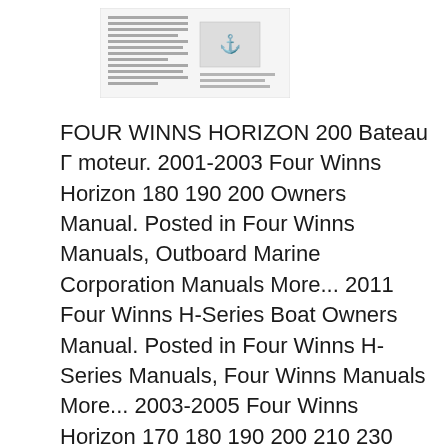[Figure (screenshot): Thumbnail image of a document page showing text columns and a small figure/diagram]
FOUR WINNS HORIZON 200 Bateau Г moteur. 2001-2003 Four Winns Horizon 180 190 200 Owners Manual. Posted in Four Winns Manuals, Outboard Marine Corporation Manuals More... 2011 Four Winns H-Series Boat Owners Manual. Posted in Four Winns H-Series Manuals, Four Winns Manuals More... 2003-2005 Four Winns Horizon 170 180 190 200 210 230 250 280 Freedom 170 180 Owners Manual . Posted in Four Winns Freedom Manuals, Four Winns Horizon, Retrouvez toutes les fiches techniques FOUR WINNS 200 HORIZON classГ©es par modГЁles. Fiches techniques voiliers